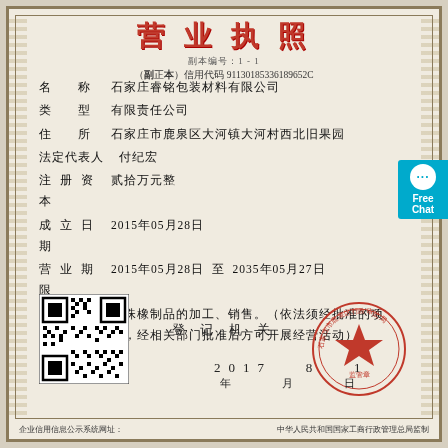营业执照
副本 正本 信用代码 91130185336189652C
名称 石家庄睿铭包装材料有限公司
类型 有限责任公司
住所 石家庄市鹿泉区大河镇大河村西北旧果园
法定代表人 付纪宏
注册资本 贰拾万元整
成立日期 2015年05月28日
营业期限 2015年05月28日 至 2035年05月27日
经营范围 珠珠橡制品的加工、销售。（依法须经批准的项目，经相关部门批准后方可开展经营活动）
[Figure (other): QR code]
[Figure (other): Official red circular stamp of 石家庄市鹿泉区行政审批局 with red star]
登 记 机 关
2017  8  1
年  月  日
企业信用信息公示系统网址：
中华人民共和国国家工商行政管理总局监制